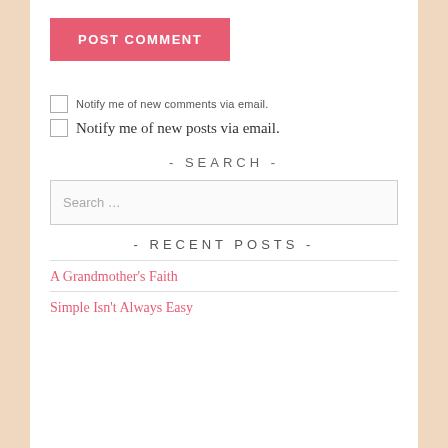POST COMMENT
Notify me of new comments via email.
Notify me of new posts via email.
- SEARCH -
Search …
- RECENT POSTS -
A Grandmother's Faith
Simple Isn't Always Easy